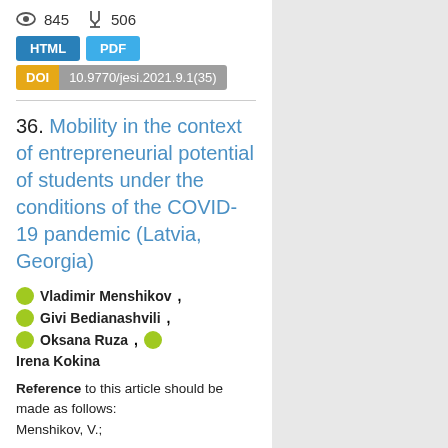845  506
HTML  PDF
DOI  10.9770/jesi.2021.9.1(35)
36. Mobility in the context of entrepreneurial potential of students under the conditions of the COVID-19 pandemic (Latvia, Georgia)
Vladimir Menshikov, Givi Bedianashvili, Oksana Ruza, Irena Kokina
Reference to this article should be made as follows: Menshikov, V.: